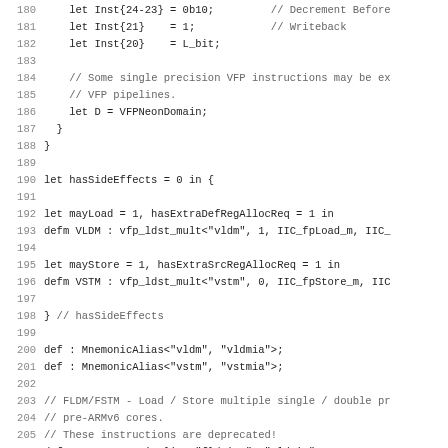Source code listing, lines 180-211, showing ARM VFP/NEON assembly/TableGen code including VLDM and VSTM instruction definitions and mnemonic aliases.